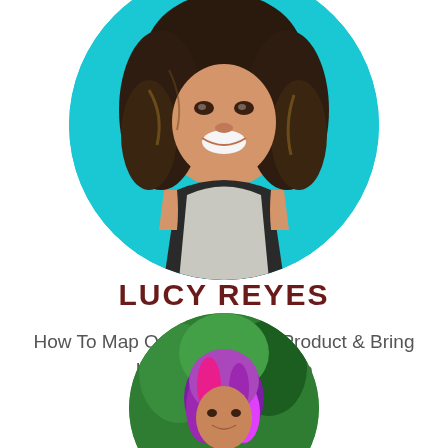[Figure (photo): Circular profile photo of Lucy Reyes - a young woman with curly dark hair, smiling, wearing a black and white shirt, against a teal/cyan background]
LUCY REYES
How To Map Out Your Digital Product & Bring It To Life Using Trello
[Figure (photo): Circular profile photo of a second speaker - a person with purple/pink hair in a green outdoor/forest setting]